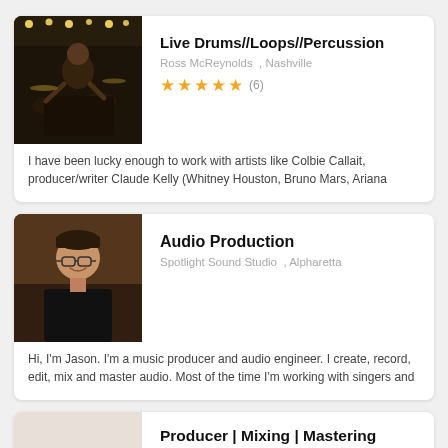[Figure (photo): Musician playing drums in a dimly lit venue with stage lights in background]
Live Drums//Loops//Percussion
Ross McReynolds , Nashville
★★★★★ (6)
I have been lucky enough to work with artists like Colbie Callait, producer/writer Claude Kelly (Whitney Houston, Bruno Mars, Ariana
[Figure (photo): Man with glasses and dark shirt in a recording studio, smiling]
Audio Production
Spotlight Sound Studio , Alpharetta
Hi, I'm Jason. I'm a music producer and audio engineer. I create, record, edit, mix and master audio. Most of the time I'm working with singers and
Producer | Mixing | Mastering
Edgar Vargas , Los Angeles